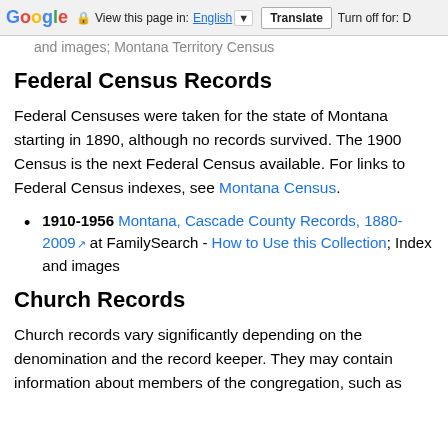Google | View this page in: English | Translate | Turn off for: D
and images; Montana Territory Census
Federal Census Records
Federal Censuses were taken for the state of Montana starting in 1890, although no records survived. The 1900 Census is the next Federal Census available. For links to Federal Census indexes, see Montana Census.
1910-1956 Montana, Cascade County Records, 1880-2009 at FamilySearch - How to Use this Collection; Index and images
Church Records
Church records vary significantly depending on the denomination and the record keeper. They may contain information about members of the congregation, such as